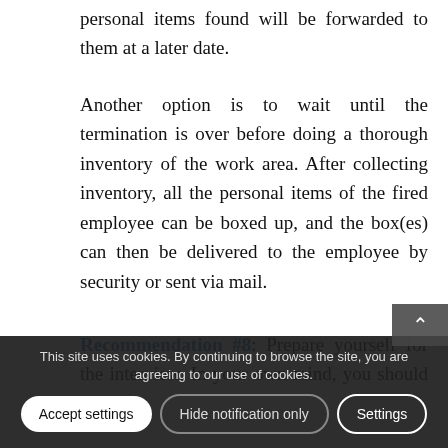personal items found will be forwarded to them at a later date.
Another option is to wait until the termination is over before doing a thorough inventory of the work area. After collecting inventory, all the personal items of the fired employee can be boxed up, and the box(es) can then be delivered to the employee by security or sent via mail.
Recommendation #8: Prepare yourself for the interview. In your own mind, you should be rehearsing possible scenarios that could occur. Not only potential violence, but what the employee may say or attempt to make or do...
This site uses cookies. By continuing to browse the site, you are agreeing to our use of cookies.